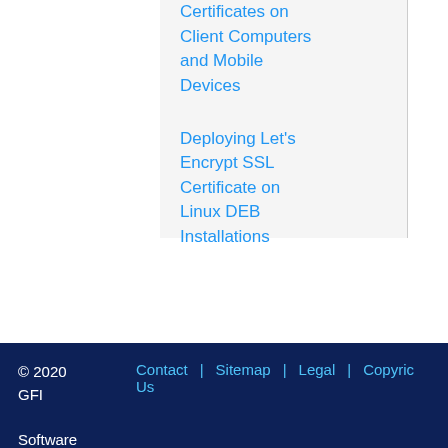Certificates on Client Computers and Mobile Devices
Deploying Let's Encrypt SSL Certificate on Linux DEB Installations
© 2020 GFI Software   Contact Us  |  Sitemap  |  Legal  |  Copyric...